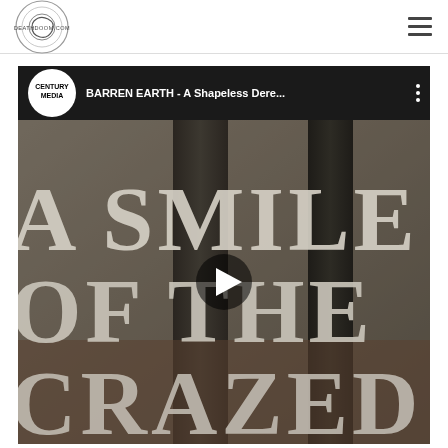deathdoom.com
[Figure (screenshot): YouTube video embed thumbnail for BARREN EARTH - A Shapeless Dere... by Century Media. Shows large serif text reading 'A SMILE OF THE CRAZED' on a dark weathered stone background. A play button is centered on the thumbnail.]